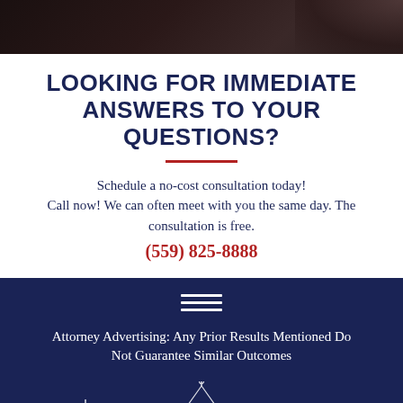[Figure (photo): Dark background image at top of page, appears to be a decorative/atmospheric photo related to law]
LOOKING FOR IMMEDIATE ANSWERS TO YOUR QUESTIONS?
Schedule a no-cost consultation today! Call now! We can often meet with you the same day. The consultation is free. (559) 825-8888
[Figure (illustration): Hamburger menu icon (three horizontal lines) in white on dark navy background]
Attorney Advertising: Any Prior Results Mentioned Do Not Guarantee Similar Outcomes
[Figure (illustration): Three small white building/capitol illustrations at the bottom of the page]